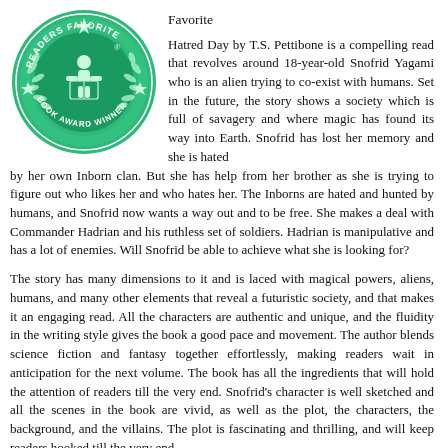[Figure (logo): Readers Favorite Book Award Winner green circular badge/seal with a figure holding a book in the center, surrounded by laurel leaves and stars]
Favorite
Hatred Day by T.S. Pettibone is a compelling read that revolves around 18-year-old Snofrid Yagami who is an alien trying to co-exist with humans. Set in the future, the story shows a society which is full of savagery and where magic has found its way into Earth. Snofrid has lost her memory and she is hated by her own Inborn clan. But she has help from her brother as she is trying to figure out who likes her and who hates her. The Inborns are hated and hunted by humans, and Snofrid now wants a way out and to be free. She makes a deal with Commander Hadrian and his ruthless set of soldiers. Hadrian is manipulative and has a lot of enemies. Will Snofrid be able to achieve what she is looking for?
The story has many dimensions to it and is laced with magical powers, aliens, humans, and many other elements that reveal a futuristic society, and that makes it an engaging read. All the characters are authentic and unique, and the fluidity in the writing style gives the book a good pace and movement. The author blends science fiction and fantasy together effortlessly, making readers wait in anticipation for the next volume. The book has all the ingredients that will hold the attention of readers till the very end. Snofrid's character is well sketched and all the scenes in the book are vivid, as well as the plot, the characters, the background, and the villains. The plot is fascinating and thrilling, and will keep readers hooked till the very end.